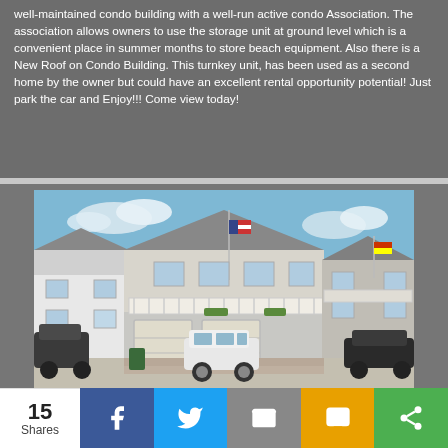well-maintained condo building with a well-run active condo Association. The association allows owners to use the storage unit at ground level which is a convenient place in summer months to store beach equipment. Also there is a New Roof on Condo Building. This turnkey unit, has been used as a second home by the owner but could have an excellent rental opportunity potential! Just park the car and Enjoy!!! Come view today!
[Figure (photo): Exterior photo of a coastal condo building with garage doors on ground level, a balcony with white railings on the upper level, flags displayed, flower boxes, blue sky with clouds, white SUV parked in front.]
New Price
15 Shares | Facebook | Twitter | Email | SMS | Share